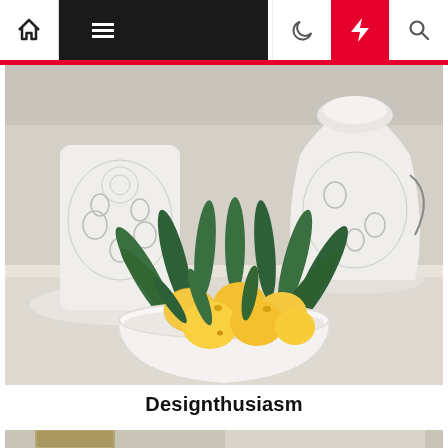Navigation bar with home, menu, moon, bolt, and search icons
[Figure (photo): A white bowl filled with yellow lemons and green leaves, placed on a light wood surface with white decorative ceramic lanterns in the background on a gray sofa.]
Designthusiasm
[Figure (photo): Partial view of a room interior with a framed artwork on the wall and bright windows.]